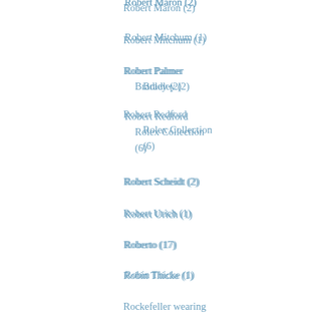Robert Maron (2)
Robert Mitchum (1)
Robert Palmer Bradley (2)
Robert Redford
Rolex Collection (6)
Robert Scheidt (2)
Robert Urich (1)
Roberto (17)
Robin Thicke (1)
Rockefeller wearing a Rolex (1)
Rod Laver (1)
Rod Serling (1)
Roger Dubuis (1)
Roger Federer (37)
Roger Moore (11)
Roger Penske (2)
Roger Waters (1)
Roland-Garros (3)